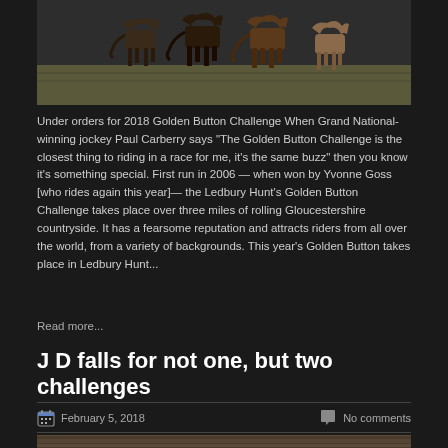[Figure (photo): Horses running in a field, viewed from behind/side, dark background]
Under orders for 2018 Golden Button Challenge When Grand National-winning jockey Paul Carberry says “The Golden Button Challenge is the closest thing to riding in a race for me, it's the same buzz” then you know it’s something special. First run in 2006 — when won by Yvonne Goss [who rides again this year]— the Ledbury Hunt’s Golden Button Challenge takes place over three miles of rolling Gloucestershire countryside. It has a fearsome reputation and attracts riders from all over the world, from a variety of backgrounds. This year’s Golden Button takes place in Ledbury Hunt...
Read more...
J D falls for not one, but two challenges
February 5, 2018
No comments
[Figure (photo): Bottom partial photo, horses or countryside scene]